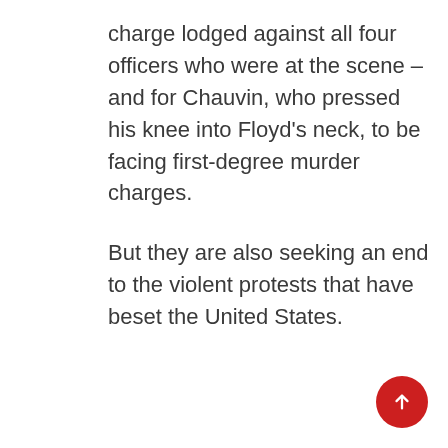charge lodged against all four officers who were at the scene – and for Chauvin, who pressed his knee into Floyd's neck, to be facing first-degree murder charges.
But they are also seeking an end to the violent protests that have beset the United States.